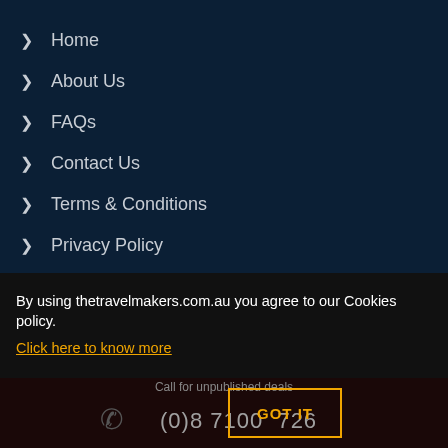Home
About Us
FAQs
Contact Us
Terms & Conditions
Privacy Policy
Cookies Policy
OUR SERVICES
Holidays
By using thetravelmakers.com.au you agree to our Cookies policy.
Click here to know more
Call for unpublished deals
(0)8 7100 1726
GOT IT